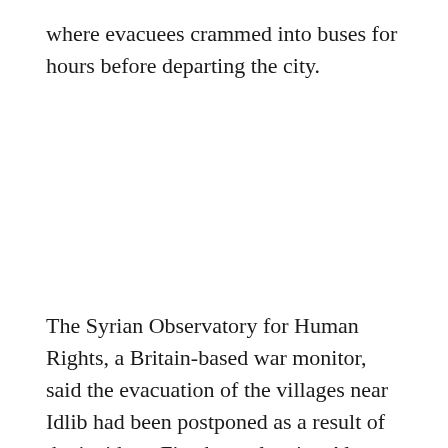where evacuees crammed into buses for hours before departing the city.
The Syrian Observatory for Human Rights, a Britain-based war monitor, said the evacuation of the villages near Idlib had been postponed as a result of the incident. Five buses leaving Aleppo were held, packed